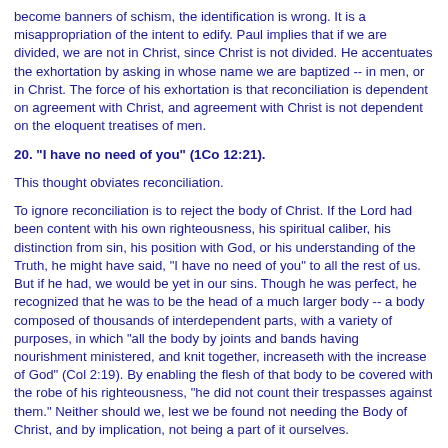become banners of schism, the identification is wrong. It is a misappropriation of the intent to edify. Paul implies that if we are divided, we are not in Christ, since Christ is not divided. He accentuates the exhortation by asking in whose name we are baptized -- in men, or in Christ. The force of his exhortation is that reconciliation is dependent on agreement with Christ, and agreement with Christ is not dependent on the eloquent treatises of men.
20. "I have no need of you" (1Co 12:21).
This thought obviates reconciliation.
To ignore reconciliation is to reject the body of Christ. If the Lord had been content with his own righteousness, his spiritual caliber, his distinction from sin, his position with God, or his understanding of the Truth, he might have said, "I have no need of you" to all the rest of us. But if he had, we would be yet in our sins. Though he was perfect, he recognized that he was to be the head of a much larger body -- a body composed of thousands of interdependent parts, with a variety of purposes, in which "all the body by joints and bands having nourishment ministered, and knit together, increaseth with the increase of God" (Col 2:19). By enabling the flesh of that body to be covered with the robe of his righteousness, "he did not count their trespasses against them." Neither should we, lest we be found not needing the Body of Christ, and by implication, not being a part of it ourselves.